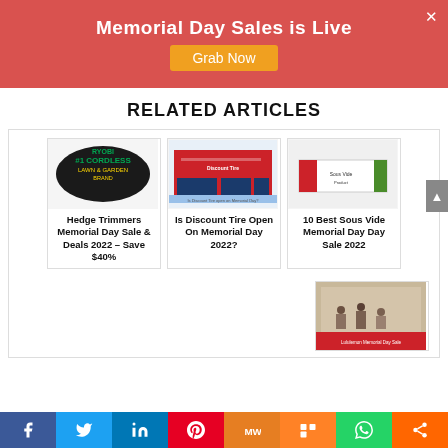Memorial Day Sales is Live
Grab Now
RELATED ARTICLES
[Figure (photo): Ryobi #1 Cordless Lawn & Garden Brand logo on dark oval badge]
[Figure (photo): Discount Tire store exterior photo]
[Figure (photo): Sous vide product box photo]
Hedge Trimmers Memorial Day Sale & Deals 2022 – Save $40%
Is Discount Tire Open On Memorial Day 2022?
10 Best Sous Vide Memorial Day Day Sale 2022
[Figure (photo): Lululemon Memorial Day Sale store photo with shoppers]